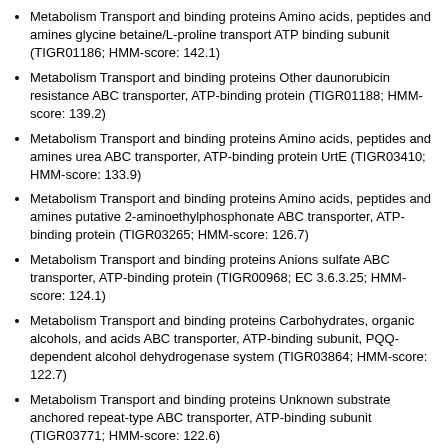Metabolism Transport and binding proteins Amino acids, peptides and amines glycine betaine/L-proline transport ATP binding subunit (TIGR01186; HMM-score: 142.1)
Metabolism Transport and binding proteins Other daunorubicin resistance ABC transporter, ATP-binding protein (TIGR01188; HMM-score: 139.2)
Metabolism Transport and binding proteins Amino acids, peptides and amines urea ABC transporter, ATP-binding protein UrtE (TIGR03410; HMM-score: 133.9)
Metabolism Transport and binding proteins Amino acids, peptides and amines putative 2-aminoethylphosphonate ABC transporter, ATP-binding protein (TIGR03265; HMM-score: 126.7)
Metabolism Transport and binding proteins Anions sulfate ABC transporter, ATP-binding protein (TIGR00968; EC 3.6.3.25; HMM-score: 124.1)
Metabolism Transport and binding proteins Carbohydrates, organic alcohols, and acids ABC transporter, ATP-binding subunit, PQQ-dependent alcohol dehydrogenase system (TIGR03864; HMM-score: 122.7)
Metabolism Transport and binding proteins Unknown substrate anchored repeat-type ABC transporter, ATP-binding subunit (TIGR03771; HMM-score: 122.6)
Metabolism Transport and binding proteins Other